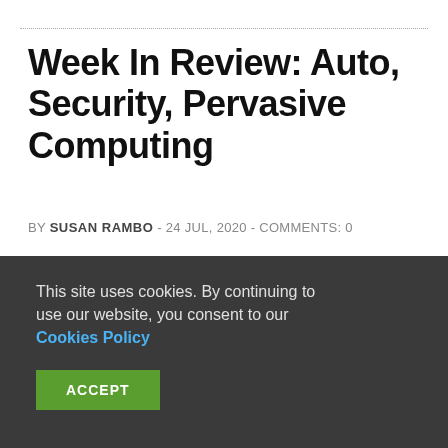Week In Review: Auto, Security, Pervasive Computing
BY SUSAN RAMBO - 24 JUL, 2020 - COMMENTS: 0
GPU maker Nvidia may be interested in a purchasing Arm, Bloomberg reports, if current owner Softbank, the Japanese investment group run by billionaire Masayoshi Son, is even selling the company. Softbank may have approached Apple to gauge.
This site uses cookies. By continuing to use our website, you consent to our Cookies Policy
ACCEPT